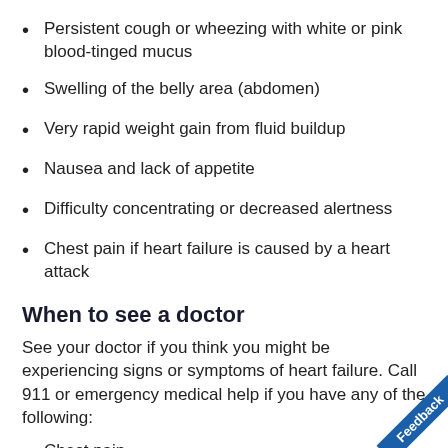Persistent cough or wheezing with white or pink blood-tinged mucus
Swelling of the belly area (abdomen)
Very rapid weight gain from fluid buildup
Nausea and lack of appetite
Difficulty concentrating or decreased alertness
Chest pain if heart failure is caused by a heart attack
When to see a doctor
See your doctor if you think you might be experiencing signs or symptoms of heart failure. Call 911 or emergency medical help if you have any of the following:
Chest pain
Fainting or severe weakness
Rapid or irregular heartbeat associated with...